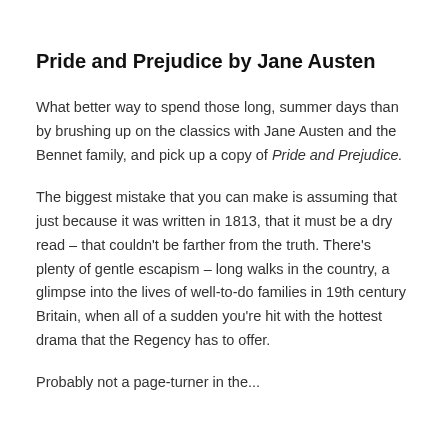Pride and Prejudice by Jane Austen
What better way to spend those long, summer days than by brushing up on the classics with Jane Austen and the Bennet family, and pick up a copy of Pride and Prejudice.
The biggest mistake that you can make is assuming that just because it was written in 1813, that it must be a dry read – that couldn't be farther from the truth. There's plenty of gentle escapism – long walks in the country, a glimpse into the lives of well-to-do families in 19th century Britain, when all of a sudden you're hit with the hottest drama that the Regency has to offer.
Probably not a page-turner in the...